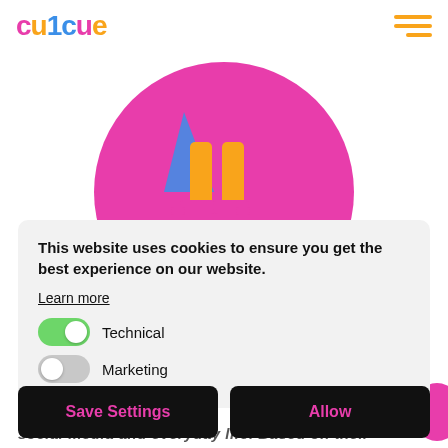cu1cue
[Figure (illustration): Colorful illustration of a figure with orange legs, pink high heels, wearing a pink skirt/dress bottom, on a pink semicircular background]
This website uses cookies to ensure you get the best experience on our website.
Learn more
Technical
Marketing
Save Settings
Allow
social media and everyday life. Based on their